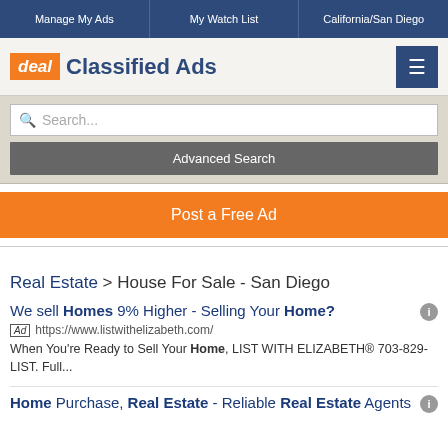Manage My Ads | My Watch List | California/San Diego
[Figure (logo): deal Classified Ads logo with orange 'deal' box and blue text, plus hamburger menu button]
Search...
Advanced Search
Post a Free Ad
Real Estate > House For Sale - San Diego
We sell Homes 9% Higher - Selling Your Home?
Ad https://www.listwithelizabeth.com/
When You're Ready to Sell Your Home, LIST WITH ELIZABETH® 703-829-LIST. Full...
Home Purchase, Real Estate - Reliable Real Estate Agents